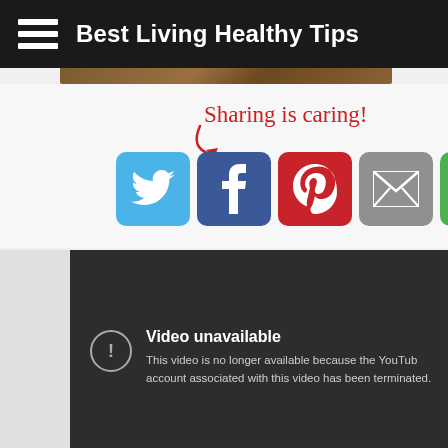Best Living Healthy Tips
[Figure (screenshot): Partial image strip showing a dark brown wooden texture at the top of the content area]
Sharing is caring!
[Figure (infographic): Five social sharing buttons: Twitter (blue bird), Facebook (blue f), Pinterest (red P), Email (grey envelope), Print/Other (green circular arrows)]
[Figure (screenshot): YouTube video unavailable error screen with dark background showing: 'Video unavailable' and 'This video is no longer available because the YouTube account associated with this video has been terminated.']